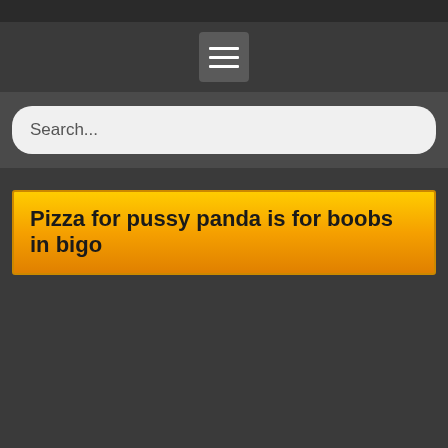[Figure (screenshot): Dark navigation bar at top of page with hamburger menu icon button (three horizontal white lines on gray background)]
Search...
Pizza for pussy panda is for boobs in bigo